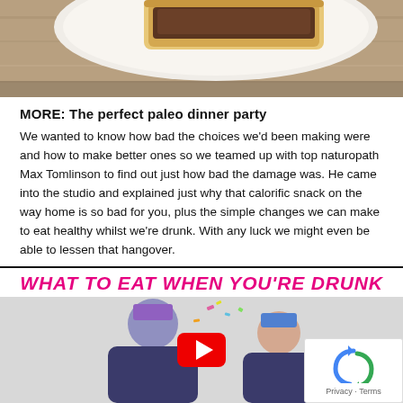[Figure (photo): Top portion of a food photo showing toast/bread on a white plate on a wooden surface, partially cropped]
MORE: The perfect paleo dinner party
We wanted to know how bad the choices we'd been making were and how to make better ones so we teamed up with top naturopath Max Tomlinson to find out just how bad the damage was. He came into the studio and explained just why that calorific snack on the way home is so bad for you, plus the simple changes we can make to eat healthy whilst we're drunk. With any luck we might even be able to lessen that hangover.
[Figure (screenshot): Video thumbnail titled 'WHAT TO EAT WHEN YOU'RE DRUNK' showing two people wearing party hats with a YouTube play button overlay and a CAPTCHA widget in the bottom right corner]